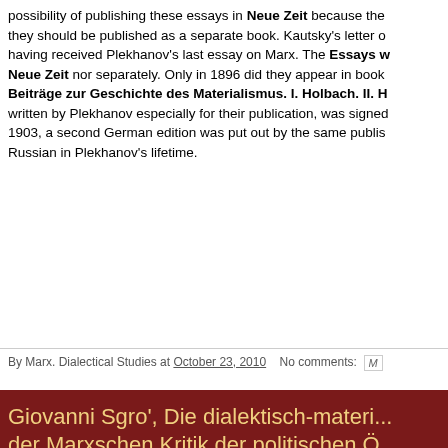possibility of publishing these essays in Neue Zeit because the they should be published as a separate book. Kautsky's letter o having received Plekhanov's last essay on Marx. The Essays w Neue Zeit nor separately. Only in 1896 did they appear in book Beiträge zur Geschichte des Materialismus. I. Holbach. II. H written by Plekhanov especially for their publication, was signed 1903, a second German edition was put out by the same publis Russian in Plekhanov's lifetime.
By Marx. Dialectical Studies at October 23, 2010   No comments:
Giovanni Sgro', Die dialektisch-materi... der Marxschen Kritik der politischen Ö... zu einer unendlichen Geschichte
Giovanni Sgro', Die dialektisch-materialistische Methode de... politischen Ökonomie. Sti...